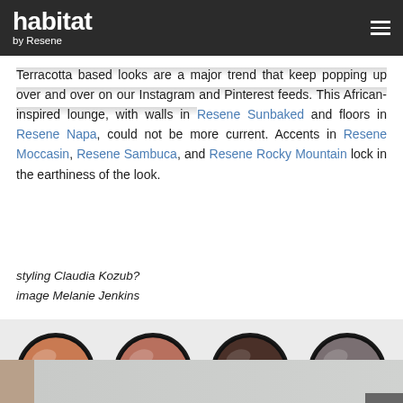habitat by Resene
Terracotta based looks are a major trend that keep popping up over and over on our Instagram and Pinterest feeds. This African-inspired lounge, with walls in Resene Sunbaked and floors in Resene Napa, could not be more current. Accents in Resene Moccasin, Resene Sambuca, and Resene Rocky Mountain lock in the earthiness of the look.
styling Claudia Kozub?
image Melanie Jenkins
[Figure (illustration): Four circular paint pot swatches showing Resene Sunbaked (terracotta orange), Resene Moccasin (muted rose-orange), Resene Sambuca (dark brown), and Resene Rocky Mountain (grey-brown), each with label text curved around the bottom.]
[Figure (photo): Bottom strip showing beginning of next photo section - light grey/blue tones with brown edge at bottom left.]